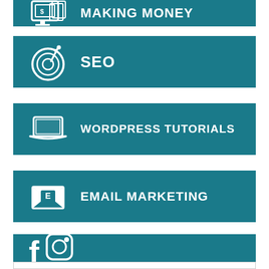[Figure (infographic): Teal banner with money/screen icon and text MAKING MONEY (partially cropped at top)]
[Figure (infographic): Teal banner with target/goal icon and text SEO]
[Figure (infographic): Teal banner with laptop icon and text WORDPRESS TUTORIALS]
[Figure (infographic): Teal banner with email/envelope icon and text EMAIL MARKETING]
[Figure (infographic): Teal banner with social media icons (Facebook, Instagram, Pinterest) and text SOCIAL MEDIA]
[Figure (other): Partial white/outline box at bottom of page]